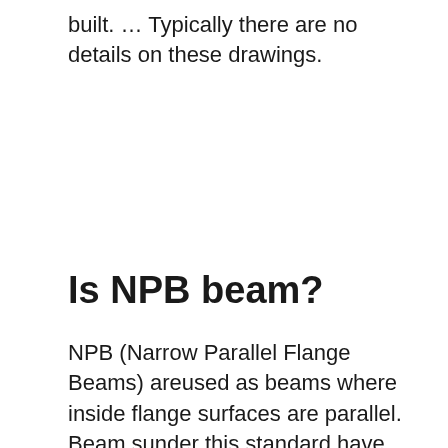built. … Typically there are no details on these drawings.
Is NPB beam?
NPB (Narrow Parallel Flange Beams) areused as beams where inside flange surfaces are parallel. Beam sunder this standard have flange widths generally lower than the